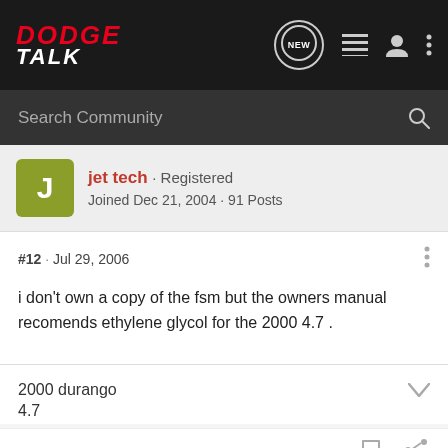DODGE TALK
Search Community
jet tech · Registered
Joined Dec 21, 2004 · 91 Posts
#12 · Jul 29, 2006
i don't own a copy of the fsm but the owners manual recomends ethylene glycol for the 2000 4.7 .
2000 durango
4.7